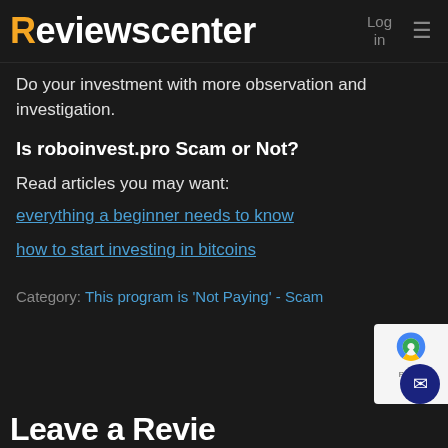Reviewscenter  Log in  ≡
Do your investment with more observation and investigation.
Is roboinvest.pro Scam or Not?
Read articles you may want:
everything a beginner needs to know
how to start investing in bitcoins
Category: This program is 'Not Paying' - Scam
Leave a Revie